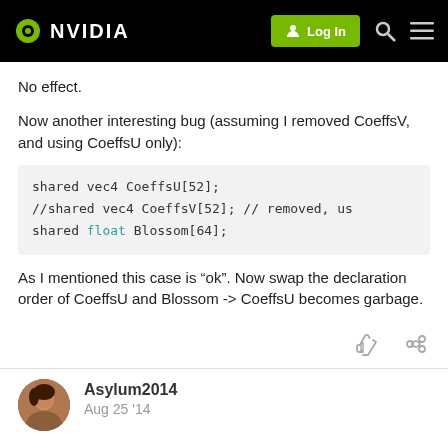NVIDIA — Log In
No effect.
Now another interesting bug (assuming I removed CoeffsV, and using CoeffsU only):
shared vec4 CoeffsU[52];
//shared vec4 CoeffsV[52];      // removed, us
shared float Blossom[64];
As I mentioned this case is “ok”. Now swap the declaration order of CoeffsU and Blossom -> CoeffsU becomes garbage.
Asylum2014   Aug 25 ’14